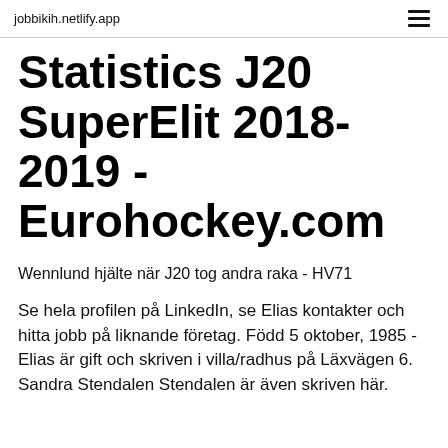jobbikih.netlify.app
Statistics J20 SuperElit 2018-2019 - Eurohockey.com
Wennlund hjälte när J20 tog andra raka - HV71
Se hela profilen på LinkedIn, se Elias kontakter och hitta jobb på liknande företag. Född 5 oktober, 1985 - Elias är gift och skriven i villa/radhus på Läxvägen 6. Sandra Stendalen Stendalen är även skriven här.